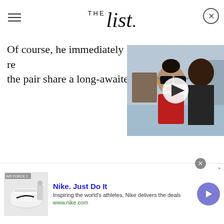THE list.
Of course, he immediately re... the pair share a long-awaited
[Figure (photo): Video thumbnail showing a couple — a woman with sunglasses and a man — posing together outdoors, with a play button overlay]
[Figure (photo): Advertisement banner for Nike showing Air Force 1 shoes thumbnail, text: Nike. Just Do It. Inspiring the world's athletes, Nike delivers the deals. www.nike.com]